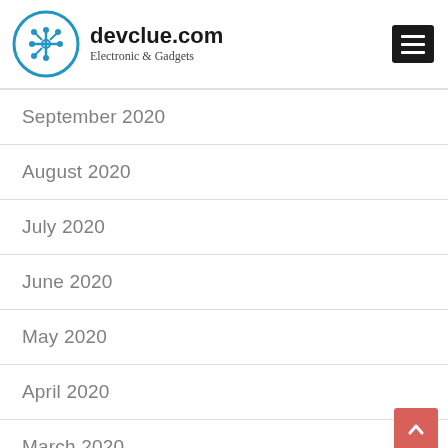[Figure (logo): devclue.com logo with blue circuit board icon and text 'devclue.com Electronic & Gadgets']
September 2020
August 2020
July 2020
June 2020
May 2020
April 2020
March 2020